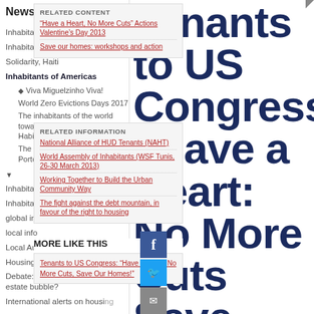News
Inhabitants of Asia
Inhabitants of the Middle East
Solidarity, Haiti
Inhabitants of Americas
Viva Miguelzinho Viva!
World Zero Evictions Days 2017
The inhabitants of the world towards the Forum Resistance Habitat 3
The inhabitants to the TSF in Porto Alegre
Inhabitants of Europe
Inhabitants of Africas
global info
local info
Local Autorithies
Housingtube
Debate:how to burst the real estate bubble?
International alerts on housing
Tenants to US Congress: “Have a Heart: No More Cuts Save Our Homes!”
RELATED CONTENT
“Have a Heart, No More Cuts” Actions Valentine’s Day 2013
Save our homes: workshops and action
RELATED INFORMATION
National Alliance of HUD Tenants (NAHT)
World Assembly of Inhabitants (WSF Tunis, 26-30 March 2013)
Working Together to Build the Urban Community Way
The fight against the debt mountain, in favour of the right to housing
MORE LIKE THIS
Tenants to US Congress: “Have a Heart: No More Cuts, Save Our Homes!”